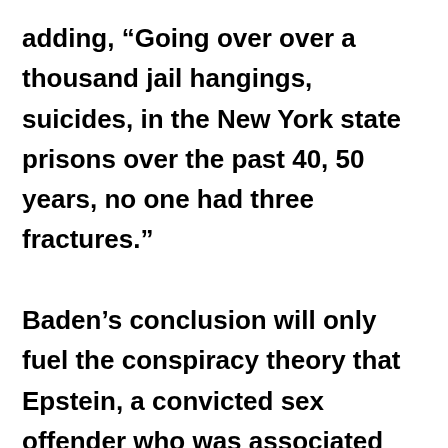adding, “Going over over a thousand jail hangings, suicides, in the New York state prisons over the past 40, 50 years, no one had three fractures.” Baden’s conclusion will only fuel the conspiracy theory that Epstein, a convicted sex offender who was associated with some of the world’s most powerful people like President Donald